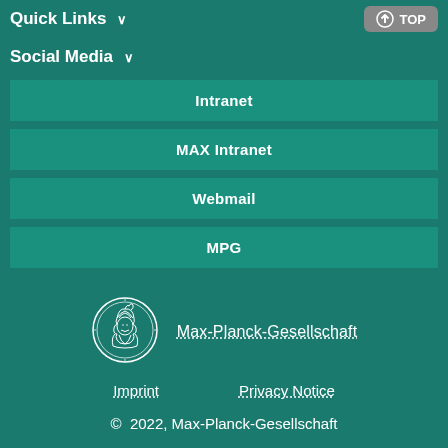Quick Links ∨
Social Media ∨
Intranet
MAX Intranet
Webmail
MPG
[Figure (logo): Max-Planck-Gesellschaft circular coin logo with Minerva profile]
Max-Planck-Gesellschaft
Imprint
Privacy Notice
© 2022, Max-Planck-Gesellschaft